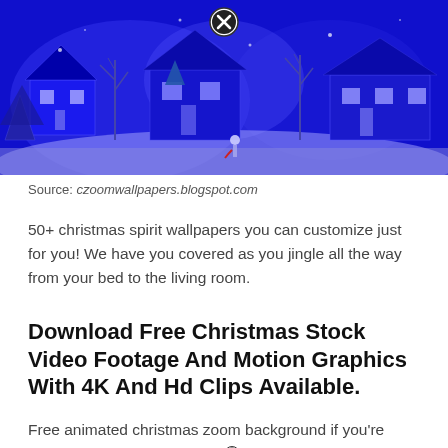[Figure (photo): A blue-toned winter Christmas scene illustration showing snow-covered houses, bare trees, and a small figure in a snowy landscape at night. Watermark text reads czoomwallpapers.blogspot.com. A close/X button overlay appears in the upper center of the image.]
Source: czoomwallpapers.blogspot.com
50+ christmas spirit wallpapers you can customize just for you! We have you covered as you jingle all the way from your bed to the living room.
Download Free Christmas Stock Video Footage And Motion Graphics With 4K And Hd Clips Available.
Free animated christmas zoom background if you're looking for free animated christmas zoom background